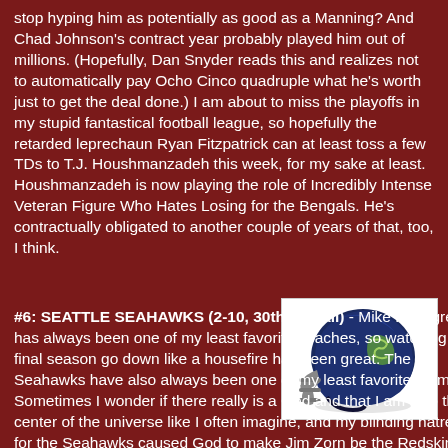stop hyping him as potentially as good as a Manning? And Chad Johnson's contract year probably played him out of millions. (Hopefully, Dan Snyder reads this and realizes not to automatically pay Ocho Cinco quadruple what he's worth just to get the deal done.) I am about to miss the playoffs in my stupid fantastical football league, so hopefully the retarded leprechaun Ryan Fitzpatrick can at least toss a few TDs to T.J. Houshmanzadeh this week, for my sake at least. Houshmanzadeh is now playing the role of Incredibly Intense Veteran Figure Who Hates Losing for the Bengals. He's contractually obligated to another couple of years of that, too, I think.
[Figure (photo): Seattle Seahawks football helmet, dark navy blue with silver and green logo, facing left on white background]
#6: SEATTLE SEAHAWKS (2-10, 30th overall) - Mike Holmgren has always been one of my least favorite coaches, so watching his final season go down like a housefire has been great. The Seahawks have also always been one of my least favorite teams. Sometimes I wonder if there really is a God and that I am also the center of the universe like I often imagine, and my blinding hatred for the Seahawks caused God to make Jim Zorn be the Redskins